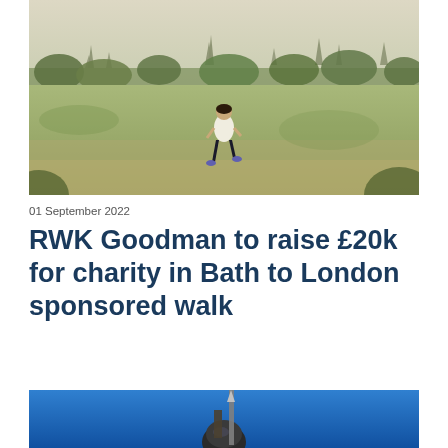[Figure (photo): Woman jogging across a large open green field with a panoramic view of a city skyline with church spires and trees in the background under a pale sky.]
01 September 2022
RWK Goodman to raise £20k for charity in Bath to London sponsored walk
[Figure (photo): Person holding a weapon or pole against a bright blue sky, partially visible at the bottom of the page.]